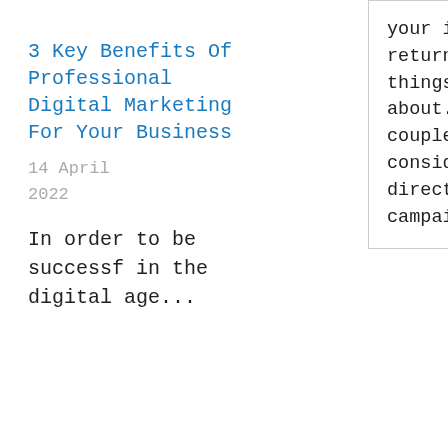3 Key Benefits Of Professional Digital Marketing For Your Business
14 April 2022
In order to be successful in the digital age...
your investment nets you some return, there are a few things that you need to think about. Here's a look at a couple of things you should consider as you plan your direct mail marketing campaign. Read More →